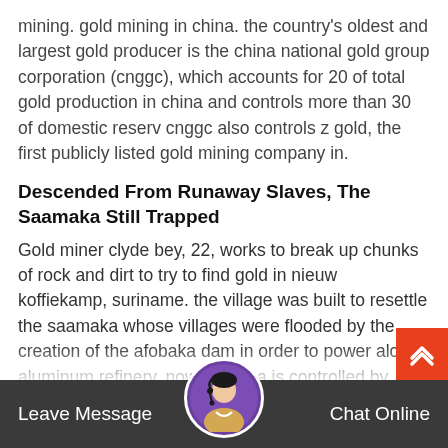mining. gold mining in china. the country's oldest and largest gold producer is the china national gold group corporation (cnggc), which accounts for 20 of total gold production in china and controls more than 30 of domestic reserv cnggc also controls z gold, the first publicly listed gold mining company in.
Descended From Runaway Slaves, The Saamaka Still Trapped
Gold miner clyde bey, 22, works to break up chunks of rock and dirt to try to find gold in nieuw koffiekamp, suriname. the village was built to resettle the saamaka whose villages were flooded by the creation of the afobaka dam in order to power alcoa's aluminum refinery. now the area is controlled by canadian gold mining firm iamgold.
Iamgold Corporation Iamgold Announces
Leave Message   Chat Online